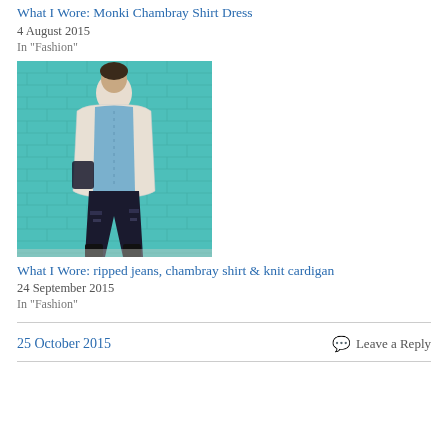What I Wore: Monki Chambray Shirt Dress
4 August 2015
In "Fashion"
[Figure (photo): Person wearing a white knit cardigan over a chambray shirt with ripped black jeans, standing in front of a teal/turquoise brick wall]
What I Wore: ripped jeans, chambray shirt & knit cardigan
24 September 2015
In "Fashion"
25 October 2015
Leave a Reply